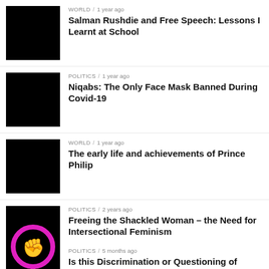WORLD / 1 year ago
Salman Rushdie and Free Speech: Lessons I Learnt at School
POLITICS / 1 year ago
Niqabs: The Only Face Mask Banned During Covid-19
WORLD / 1 year ago
The early life and achievements of Prince Philip
POLITICS / 2 years ago
Freeing the Shackled Woman – the Need for Intersectional Feminism
POLITICS / 5 months ago
Is this Discrimination or Questioning of Judge Ketanji Jackson? – The Context